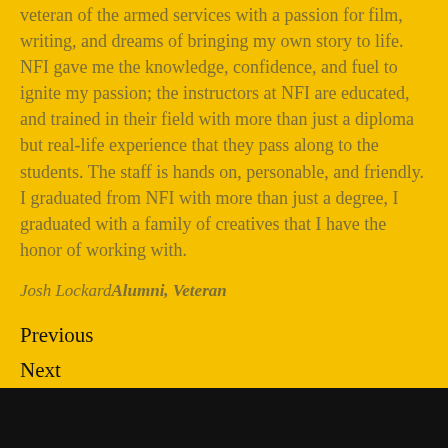veteran of the armed services with a passion for film, writing, and dreams of bringing my own story to life. NFI gave me the knowledge, confidence, and fuel to ignite my passion; the instructors at NFI are educated, and trained in their field with more than just a diploma but real-life experience that they pass along to the students. The staff is hands on, personable, and friendly. I graduated from NFI with more than just a degree, I graduated with a family of creatives that I have the honor of working with.
Josh Lockard Alumni, Veteran
Previous
Next
[Figure (other): Black bar at bottom of page]